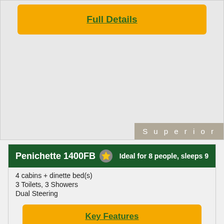[Figure (other): Gray image placeholder area with 'Superior' label badge in bottom right corner]
Full Details
Penichette 1400FB ⭐ Ideal for 8 people, sleeps 9
4 cabins + dinette bed(s)
3 Toilets, 3 Showers
Dual Steering
Key Features
Full Details